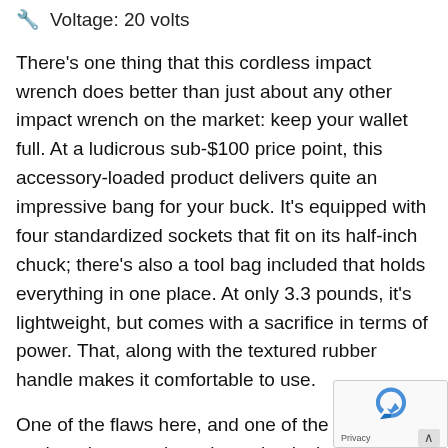🔧 Voltage: 20 volts
There's one thing that this cordless impact wrench does better than just about any other impact wrench on the market: keep your wallet full. At a ludicrous sub-$100 price point, this accessory-loaded product delivers quite an impressive bang for your buck. It's equipped with four standardized sockets that fit on its half-inch chuck; there's also a tool bag included that holds everything in one place. At only 3.3 pounds, it's lightweight, but comes with a sacrifice in terms of power. That, along with the textured rubber handle makes it comfortable to use.
One of the flaws here, and one of the reasons such an inexpensive price point, is the minusc... battery. The lithium-ion tech measures in at jus...